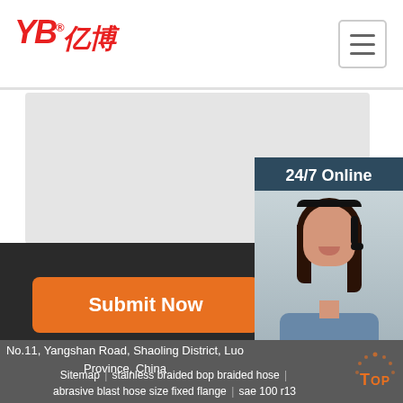[Figure (logo): YB 亿博 company logo in red italic text with registered trademark symbol]
[Figure (other): Hamburger menu button (three horizontal lines) in top-right corner]
[Figure (other): Grey form area for user input]
[Figure (photo): 24/7 Online customer service widget with photo of woman wearing headset, Click here for free chat text, and QUOTATION orange button]
[Figure (other): Submit Now orange button]
No.11, Yangshan Road, Shaoling District, Luoyang, Henan Province, China
Sitemap | stainless braided bop braided hose | abrasive blast hose size fixed flange | sae 100 r13 16 steel braided chemical hose
[Figure (other): TOP back-to-top button with orange text and dot pattern]